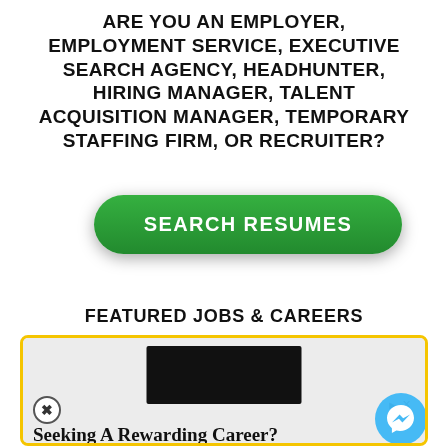ARE YOU AN EMPLOYER, EMPLOYMENT SERVICE, EXECUTIVE SEARCH AGENCY, HEADHUNTER, HIRING MANAGER, TALENT ACQUISITION MANAGER, TEMPORARY STAFFING FIRM, OR RECRUITER?
[Figure (other): Green rounded button labeled SEARCH RESUMES]
FEATURED JOBS & CAREERS
[Figure (screenshot): Advertisement box with yellow border. Contains a black rectangle image placeholder, close button (X), ad arrows, headline 'Seeking A Rewarding Career?', body text 'Discover How Accounting Can Take You Where You Want To Go.', URL 'joinaccountingplus.com', and blue OPEN button. Messenger icon in bottom right corner.]